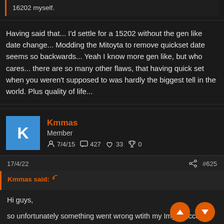16202 myself.
Having said that... I'd settle for a 15202 without the gen like date change... Modding the Mitoyta to remove quickset date seems so backwards... Yeah I know more gen like, but who cares... there are so many other flaws, that having quick set when you weren't supposed to was hardly the biggest tell in the world. Plus quality of life...
Kmmas
Member
7/4/15  427  33  0
17/4/22  #625
Kmmas said:
Hi guys,

so unfortunately something went wrong wtith my Imgur account